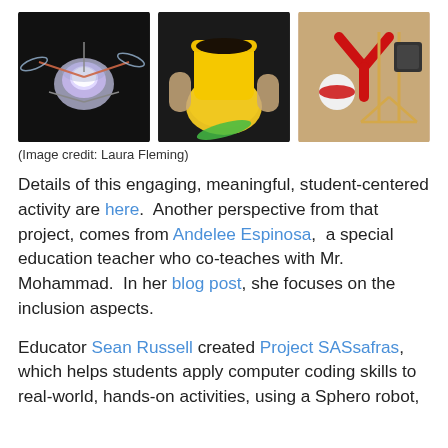[Figure (photo): Three photos side by side: left shows a small robot with glowing light and propellers on a dark surface; center shows a yellow 3D-printed cup shape on a sphere with a green propeller and hands holding it; right shows a red Y-shaped piece and a ball on a wooden surface with sticks.]
(Image credit: Laura Fleming)
Details of this engaging, meaningful, student-centered activity are here.  Another perspective from that project, comes from Andelee Espinosa,  a special education teacher who co-teaches with Mr. Mohammad.  In her blog post, she focuses on the inclusion aspects.
Educator Sean Russell created Project SASsafras, which helps students apply computer coding skills to real-world, hands-on activities, using a Sphero robot,